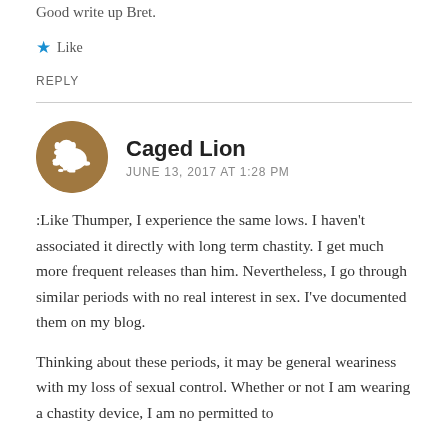Good write up Bret.
★ Like
REPLY
Caged Lion
JUNE 13, 2017 AT  1:28 PM
:Like Thumper, I experience the same lows. I haven't associated it directly with long term chastity. I get much more frequent releases than him. Nevertheless, I go through similar periods with no real interest in sex. I've documented them on my blog.
Thinking about these periods, it may be general weariness with my loss of sexual control. Whether or not I am wearing a chastity device, I am no permitted to